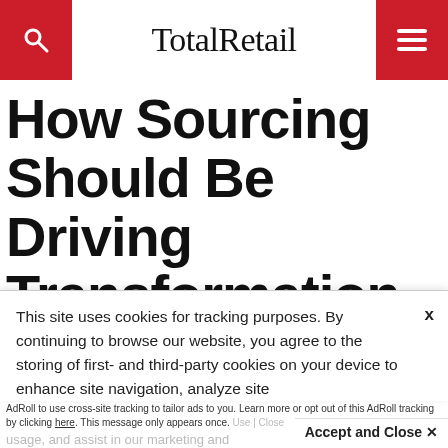TotalRetail
How Sourcing Should Be Driving Transformation and Mitigating
This site uses cookies for tracking purposes. By continuing to browse our website, you agree to the storing of first- and third-party cookies on your device to enhance site navigation, analyze site usage, and assist in our marketing and
Accept and Close ✕
Your browser settings do not allow cross-site tracking for advertising. Click on this page to allow AdRoll to use cross-site tracking to tailor ads to you. Learn more or opt out of this AdRoll tracking by clicking here. This message only appears once.